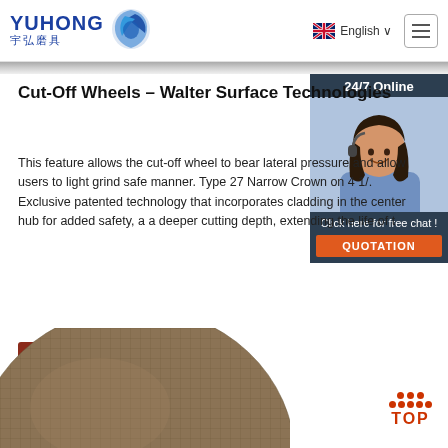YUHONG 宇弘磨具 | English | Menu
Cut-Off Wheels – Walter Surface Technologies
[Figure (photo): 24/7 online customer service representative chat widget with woman wearing headset, and orange QUOTATION button]
This feature allows the cut-off wheel to bear lateral pressure and allow users to light grind safe manner. Type 27 Narrow Crown on 4 1/. Exclusive patented technology that incorporates cladding in the center hub for added safety, a a deeper cutting depth, extending the life of t
[Figure (photo): Get Price button (dark red/brown)]
[Figure (photo): Partial abrasive cut-off wheel disc visible at bottom of page]
[Figure (other): TOP navigation button with red dots above text]